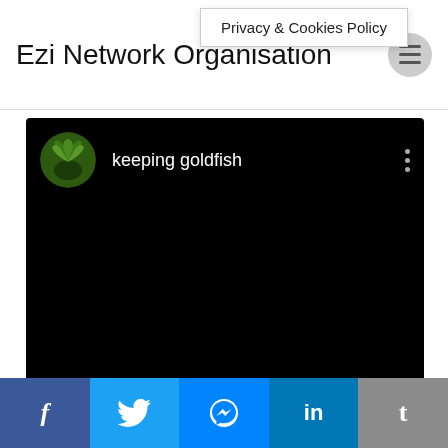Ezi Network Organisation
Privacy & Cookies Policy
[Figure (screenshot): Embedded video player with black background showing YouTube-style interface. Channel avatar (circular green plant image) and channel name 'keeping goldfish' displayed at top left. Three-dot menu icon at top right. Video content area is entirely black.]
f  t  messenger  in  t